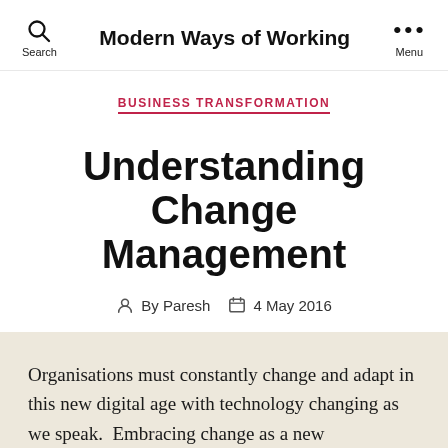Modern Ways of Working
BUSINESS TRANSFORMATION
Understanding Change Management
By Paresh   4 May 2016
Organisations must constantly change and adapt in this new digital age with technology changing as we speak.  Embracing change as a new responsibility can